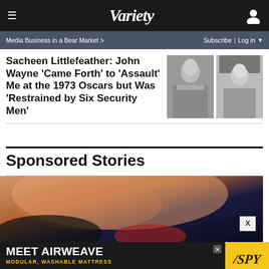VARIETY
Media Business in a Bear Market >
Subscribe | Log in
Sacheen Littlefeather: John Wayne ‘Came Forth’ to ‘Assault’ Me at the 1973 Oscars but Was ‘Restrained by Six Security Men’
[Figure (photo): Black and white photos of Sacheen Littlefeather and John Wayne]
Sponsored Stories
[Figure (photo): Close-up photo used in sponsored content section showing skin-like texture and dark background]
[Figure (other): Advertisement banner: MEET AIRWEAVE MODULAR, WASHABLE MATTRESS with SPY logo on yellow background]